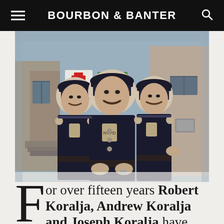BOURBON & BANTER
[Figure (photo): Three police officers in NYPD uniforms and caps standing in front of a building, posing for the camera. A vintage photograph.]
For over fifteen years Robert Koralja, Andrew Koralja and Joseph Koralja have